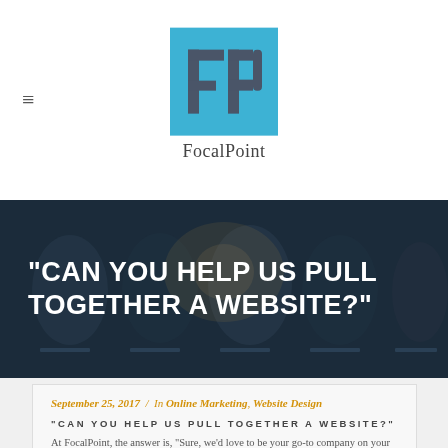[Figure (logo): FocalPoint logo: blue square with FP letters, text FocalPoint below]
"CAN YOU HELP US PULL TOGETHER A WEBSITE?"
September 25, 2017 / In Online Marketing, Website Design
"CAN YOU HELP US PULL TOGETHER A WEBSITE?"
At FocalPoint, the answer is, “Sure, we’d love to be your go-to company on your website project. But let’s talk about this